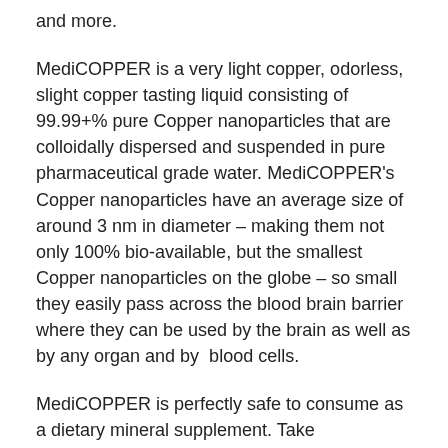and more.
MediCOPPER is a very light copper, odorless, slight copper tasting liquid consisting of 99.99+% pure Copper nanoparticles that are colloidally dispersed and suspended in pure pharmaceutical grade water. MediCOPPER's Copper nanoparticles have an average size of around 3 nm in diameter – making them not only 100% bio-available, but the smallest Copper nanoparticles on the globe – so small they easily pass across the blood brain barrier where they can be used by the brain as well as by any organ and by blood cells.
MediCOPPER is perfectly safe to consume as a dietary mineral supplement. Take MediCOPPER as directed; taking more is not likely to yield any additional benefit. Nutraneering™ does not spend much money advertising MediCOPPER – we don't have to. This huge savings is passed along to you (the consumer) in the form of a lower price and free shipping. You can find more